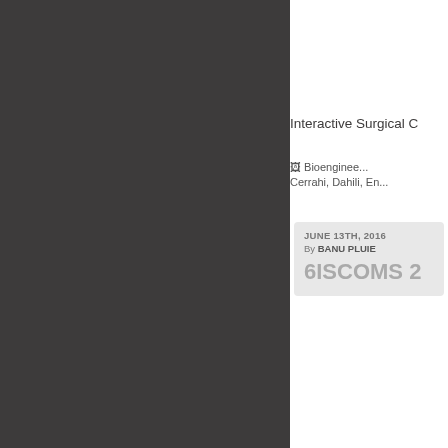[Figure (other): Dark gray left panel background covering approximately the left 65% of the page]
Interactive Surgical C
Bioengine... Cerrahi, Dahili, En...
JUNE 13TH, 2016 By BANU PLUIE 6ISCOMS 2